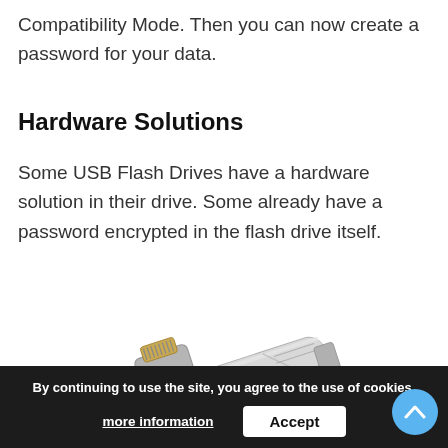Compatibility Mode. Then you can now create a password for your data.
Hardware Solutions
Some USB Flash Drives have a hardware solution in their drive. Some already have a password encrypted in the flash drive itself.
[Figure (photo): A silver USB flash drive with a Lightning connector at the top, metallic body shown at an angle.]
By continuing to use the site, you agree to the use of cookies.
more information
Accept